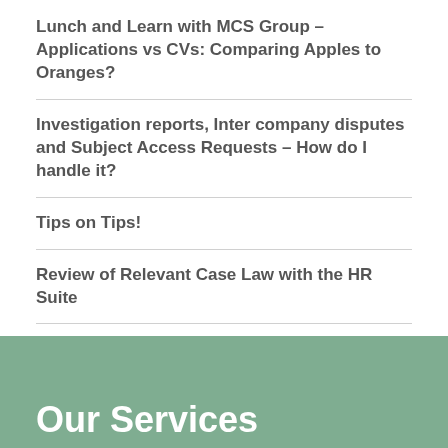Lunch and Learn with MCS Group – Applications vs CVs: Comparing Apples to Oranges?
Investigation reports, Inter company disputes and Subject Access Requests – How do I handle it?
Tips on Tips!
Review of Relevant Case Law with the HR Suite
Gender Pay Gap Reporting – Overview of the New Regulations
Our Services